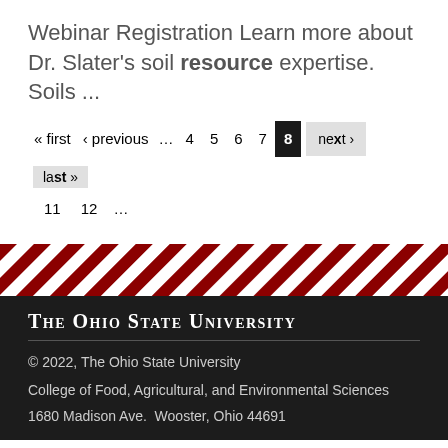Webinar Registration Learn more about Dr. Slater's soil resource expertise. Soils ...
« first ‹ previous … 4 5 6 7 8 next › 10 last » 11 12 …
[Figure (other): Diagonal red and white stripe decorative banner]
THE OHIO STATE UNIVERSITY
© 2022, The Ohio State University
College of Food, Agricultural, and Environmental Sciences
1680 Madison Ave.  Wooster, Ohio 44691